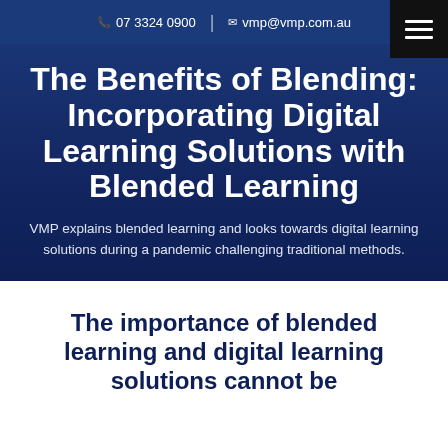07 3324 0900 | vmp@vmp.com.au
The Benefits of Blending: Incorporating Digital Learning Solutions with Blended Learning
VMP explains blended learning and looks towards digital learning solutions during a pandemic challenging traditional methods.
The importance of blended learning and digital learning solutions cannot be